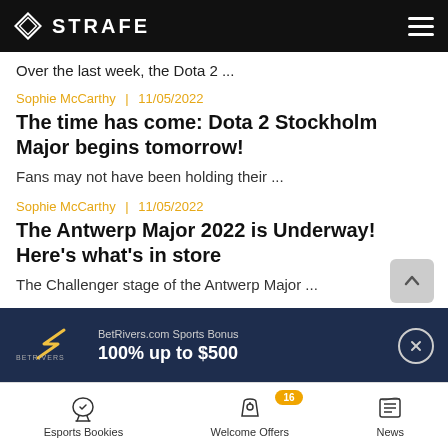STRAFE
Over the last week, the Dota 2 ...
Sophie McCarthy  |  11/05/2022
The time has come: Dota 2 Stockholm Major begins tomorrow!
Fans may not have been holding their ...
Sophie McCarthy  |  11/05/2022
The Antwerp Major 2022 is Underway! Here's what's in store
The Challenger stage of the Antwerp Major ...
BetRivers.com Sports Bonus
100% up to $500
Esports Bookies  |  Welcome Offers  |  News